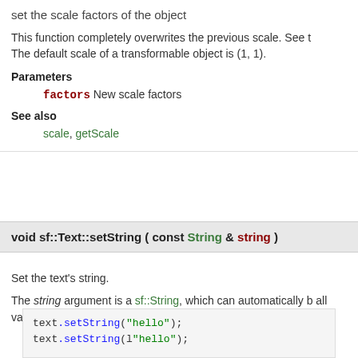set the scale factors of the object
This function completely overwrites the previous scale. See t The default scale of a transformable object is (1, 1).
Parameters
factors New scale factors
See also
scale, getScale
void sf::Text::setString ( const String & string )
Set the text's string.
The string argument is a sf::String, which can automatically b all valid:
text.setString("hello");
text.setString(l"hello");